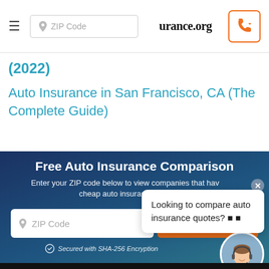ZIP Code | urance.org
(2022)
Auto Insurance in San Francisco, CA (The Complete Guide)
Free Auto Insurance Comparison
Enter your ZIP code below to view companies that have cheap auto insurance rates.
Looking to compare auto insurance quotes? ■ ■
Secured with SHA-256 Encryption